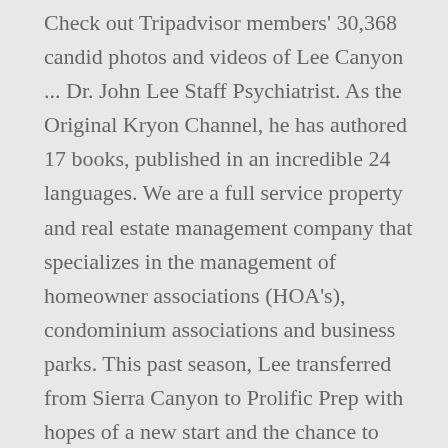Check out Tripadvisor members' 30,368 candid photos and videos of Lee Canyon ... Dr. John Lee Staff Psychiatrist. As the Original Kryon Channel, he has authored 17 books, published in an incredible 24 languages. We are a full service property and real estate management company that specializes in the management of homeowner associations (HOA's), condominium associations and business parks. This past season, Lee transferred from Sierra Canyon to Prolific Prep with hopes of a new start and the chance to win a national championship. During the 2014-2015 season, Lee and Riley led Sierra Canyon to a 26-4 record and a CIF championship. Running Head: CLC TEAM CLC-Importance of a Team Ashly Lee Grand Canyon